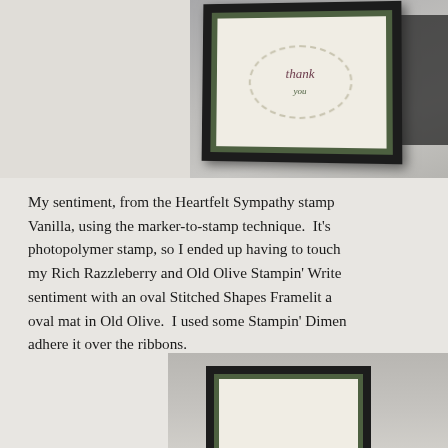[Figure (photo): Top photograph showing a framed handmade card with green and cream colors, featuring a sentiment with cursive text and floral/leaf decorations, displayed at an angle on a gray surface]
My sentiment, from the Heartfelt Sympathy stamp set, was stamped in Rich Razzleberry on Very Vanilla, using the marker-to-stamp technique. It's a photopolymer stamp, so I ended up having to touch up my Rich Razzleberry and Old Olive Stampin' Write Markers. I framed my sentiment with an oval Stitched Shapes Framelit and added an oval mat in Old Olive. I used some Stampin' Dimensionals to adhere it over the ribbons.
[Figure (photo): Bottom photograph partially visible, showing another framed handmade card with black frame and green card stock, displayed on a gray surface]